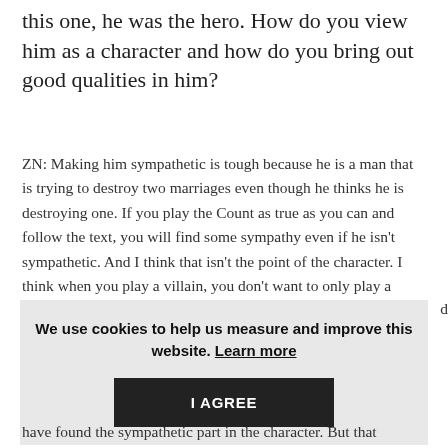this one, he was the hero. How do you view him as a character and how do you bring out good qualities in him?
ZN: Making him sympathetic is tough because he is a man that is trying to destroy two marriages even though he thinks he is destroying one. If you play the Count as true as you can and follow the text, you will find some sympathy even if he isn't sympathetic. And I think that isn't the point of the character. I think when you play a villain, you don't want to only play a villain. You want to follow the text and that will lead you to discover more of the character.
We use cookies to help us measure and improve this website. Learn more
I AGREE
have found the sympathetic part in the character. But that